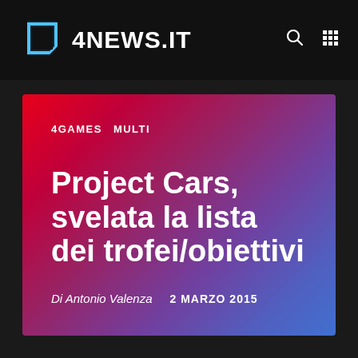[Figure (logo): 4NEWS.IT website logo with geometric square icon in blue/white and site name text]
4NEWS.IT
4GAMES  MULTI
Project Cars, svelata la lista dei trofei/obiettivi
Di Antonio Valenza   2 MARZO 2015